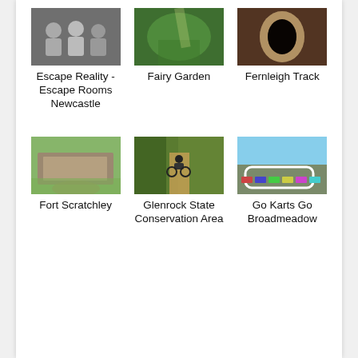[Figure (photo): Photo of people in an escape room, black and white, group of people]
[Figure (photo): Photo of a fairy garden with green foliage and light]
[Figure (photo): Photo of Fernleigh Track, a tunnel view]
Escape Reality - Escape Rooms Newcastle
Fairy Garden
Fernleigh Track
[Figure (photo): Photo of Fort Scratchley, stone fortification with green lawn]
[Figure (photo): Photo of Glenrock State Conservation Area, cyclist on dirt trail]
[Figure (photo): Photo of Go Karts Go Broadmeadow, aerial view of go kart track and cars]
Fort Scratchley
Glenrock State Conservation Area
Go Karts Go Broadmeadow